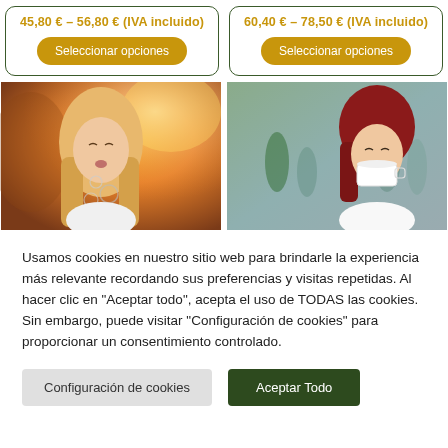45,80 € – 56,80 € (IVA incluido)
Seleccionar opciones
60,40 € – 78,50 € (IVA incluido)
Seleccionar opciones
[Figure (photo): Young woman with long blonde hair blowing soap bubbles outdoors in warm golden sunlight]
[Figure (photo): Young woman with red hair drinking from a white cup on a busy street]
Usamos cookies en nuestro sitio web para brindarle la experiencia más relevante recordando sus preferencias y visitas repetidas. Al hacer clic en "Aceptar todo", acepta el uso de TODAS las cookies. Sin embargo, puede visitar "Configuración de cookies" para proporcionar un consentimiento controlado.
Configuración de cookies
Aceptar Todo